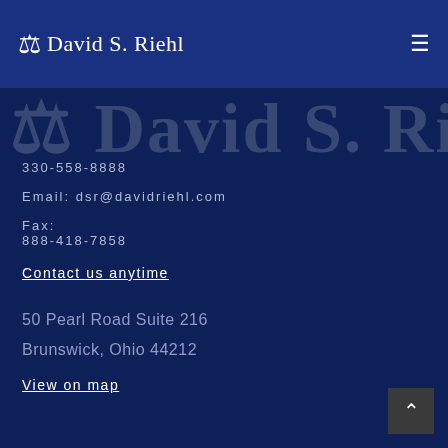⚖ David S. Riehl
[Figure (logo): Large cropped logo text showing '⚖ David S. Riehl' in oversized semi-transparent white serif font on dark navy background]
330-558-8888
Email: dsr@davidriehl.com
Fax:
888-418-7858
Contact us anytime
50 Pearl Road Suite 216
Brunswick, Ohio 44212
View on map